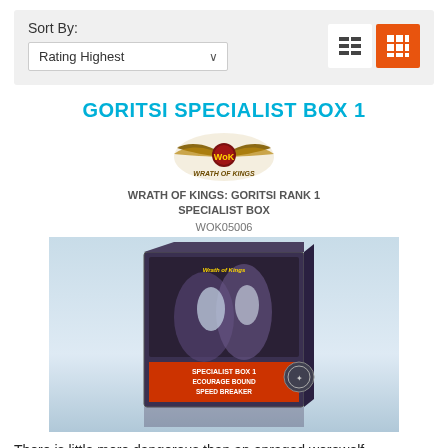Sort By: Rating Highest
GORITSI SPECIALIST BOX 1
[Figure (screenshot): Wrath of Kings brand logo — stylized eagle wings with ornate lettering]
WRATH OF KINGS: GORITSI RANK 1 SPECIALIST BOX
WOK05006
[Figure (photo): Product box image for Goritsi Specialist Box 1 showing miniature figurines on the box art, labeled SPECIALIST BOX 1, ECOURAGE BOUND, SPEED BREAKER]
There is little more dangerous than an enraged werewolf,